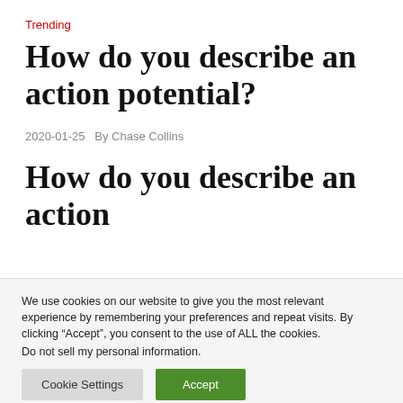Trending
How do you describe an action potential?
2020-01-25   By Chase Collins
How do you describe an action potential?
We use cookies on our website to give you the most relevant experience by remembering your preferences and repeat visits. By clicking “Accept”, you consent to the use of ALL the cookies.
Do not sell my personal information.